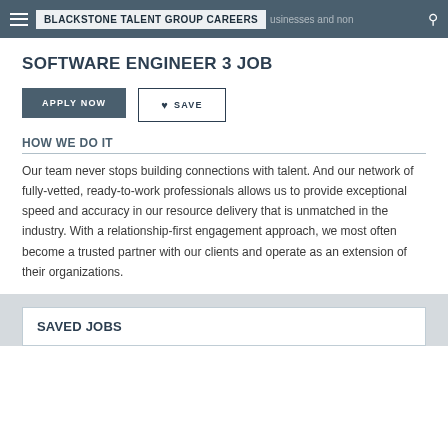BLACKSTONE TALENT GROUP CAREERS
SOFTWARE ENGINEER 3 JOB
APPLY NOW
♥ SAVE
HOW WE DO IT
Our team never stops building connections with talent. And our network of fully-vetted, ready-to-work professionals allows us to provide exceptional speed and accuracy in our resource delivery that is unmatched in the industry. With a relationship-first engagement approach, we most often become a trusted partner with our clients and operate as an extension of their organizations.
SAVED JOBS